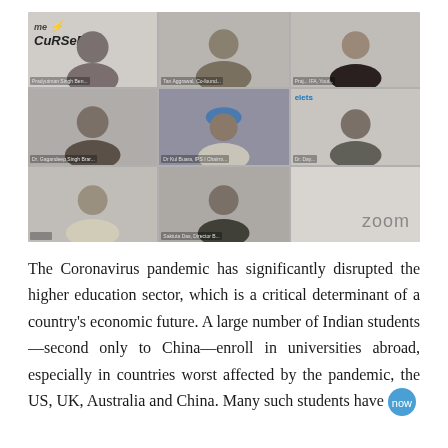[Figure (photo): A Zoom video call screenshot showing 8 participants in a grid layout. Top row: a person with me Cursera logo visible, a man named Tan Aggrawal Cofounder, and a woman. Middle row: Dr. Gagandeep Singh Brar, Dr. Kul Buara IPS Chairman, and a person with olets branding, and a man. Bottom row: a man, a man labeled Saktuta Das Director, and a Zoom logo in the bottom right cell.]
The Coronavirus pandemic has significantly disrupted the higher education sector, which is a critical determinant of a country's economic future. A large number of Indian students—second only to China—enroll in universities abroad, especially in countries worst affected by the pandemic, the US, UK, Australia and China. Many such students have now been placed from leaving the countries. If the situation...